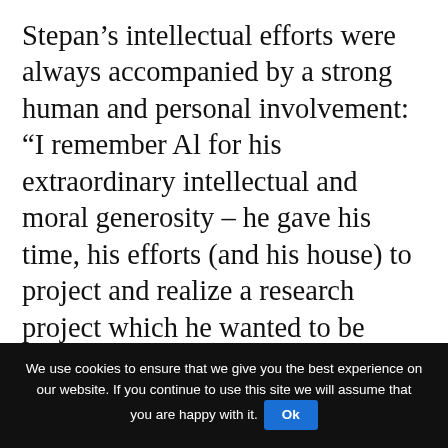Stepan's intellectual efforts were always accompanied by a strong human and personal involvement: “I remember Al for his extraordinary intellectual and moral generosity – he gave his time, his efforts (and his house) to project and realize a research project which he wanted to be collective. His tolerance or, rather, his sincere desire to comprehend diversities, rendered his personal research a project open for all to see. His presence in our faculty was very significant and his passing has been a great loss to us all. Al was a sincere democrat, in both life and research.
We use cookies to ensure that we give you the best experience on our website. If you continue to use this site we will assume that you are happy with it. Ok